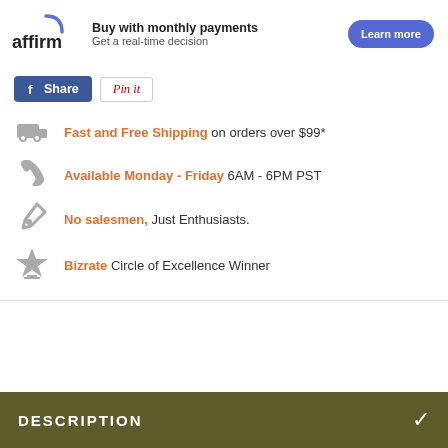[Figure (infographic): Affirm banner: logo, 'Buy with monthly payments / Get a real-time decision', and 'Learn more' button]
[Figure (infographic): Social share buttons: Facebook Share and Pinterest Pin it]
Fast and Free Shipping on orders over $99*
Available Monday - Friday 6AM - 6PM PST
No salesmen, Just Enthusiasts.
Bizrate Circle of Excellence Winner
DESCRIPTION